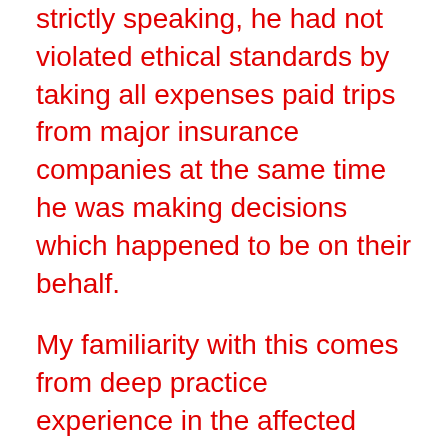strictly speaking, he had not violated ethical standards by taking all expenses paid trips from major insurance companies at the same time he was making decisions which happened to be on their behalf.
My familiarity with this comes from deep practice experience in the affected areas, including involvement with two of the major cases which were de-certified by this process. The law was politicized, and still has not reached the impartiality that was present when I was originally in practice, though there have been, in fairness, genuine strides away from the dark. This story, in fiction, illustrates what is at stake when greedy preoccupation with material gain is allowed to have its way with law. Also, the legal analysis and issue handling shows a level of practical depth seldom seen in fiction. For these reasons, I have just purchased an additional copy of this book for our long